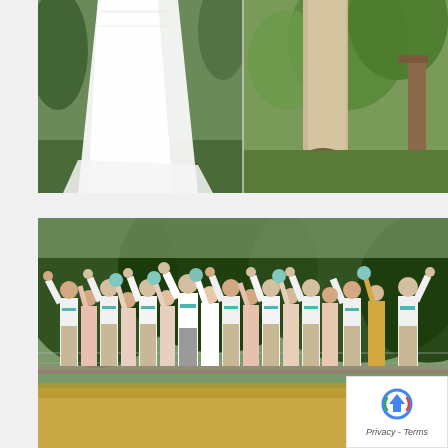[Figure (photo): Close-up wedding photo split into two panels: left panel shows the lower half of a bride in a white lace wedding dress with a train on grass, right panel shows the lower half of a groom in khaki pants and brown shoes near green foliage and a wooden structure.]
[Figure (photo): Wide outdoor wedding party group photo with a large bridal party of approximately 14 people standing on what appears to be a bridge or platform, all raising their arms in celebration. Bridesmaids wear blush/pink dresses, groomsmen wear white shirts with teal ties, set against a lush green tree backdrop and golden grass field in the foreground.]